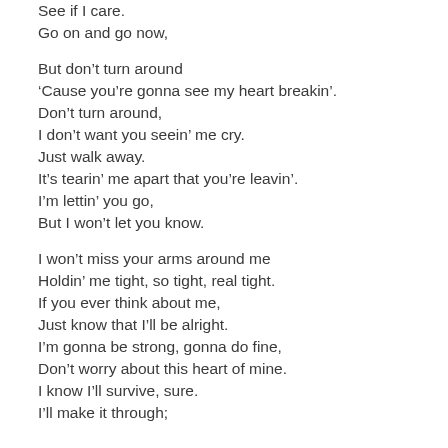See if I care.
Go on and go now,

But don't turn around
'Cause you're gonna see my heart breakin'.
Don't turn around,
I don't want you seein' me cry.
Just walk away.
It's tearin' me apart that you're leavin'.
I'm lettin' you go,
But I won't let you know.

I won't miss your arms around me
Holdin' me tight, so tight, real tight.
If you ever think about me,
Just know that I'll be alright.
I'm gonna be strong, gonna do fine,
Don't worry about this heart of mine.
I know I'll survive, sure.
I'll make it through;
I'll never let you all out there.